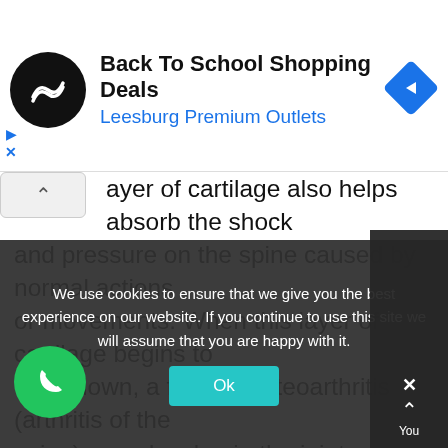[Figure (infographic): Advertisement banner: Back To School Shopping Deals at Leesburg Premium Outlets with logo and arrow icon]
layer of cartilage also helps absorb the shock and pressure on the spine caused by normal actions or movements. When this layer of cartilage begins to wear down, a form of osteoarthritis (arthritis of the spine) may develop in the joint, causing the joint to inflame. This is the most common cause of SI joint dysfunction in older adults.

Other causes of this condition include:
We use cookies to ensure that we give you the best experience on our website. If you continue to use this site we will assume that you are happy with it.
Ok